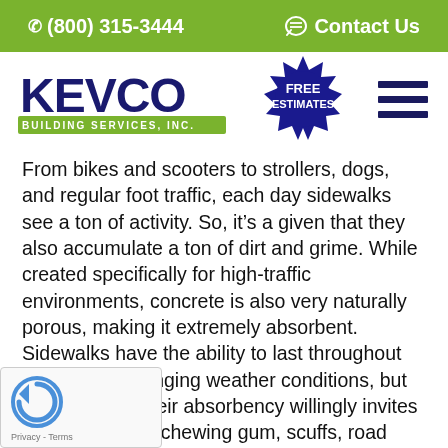(800) 315-3444   Contact Us
[Figure (logo): KEVCO Building Services Inc. logo with blue block letters and green bar]
[Figure (illustration): Blue starburst badge with white text reading FREE ESTIMATES]
[Figure (illustration): Hamburger menu icon with three dark blue horizontal bars]
From bikes and scooters to strollers, dogs, and regular foot traffic, each day sidewalks see a ton of activity. So, it’s a given that they also accumulate a ton of dirt and grime. While created specifically for high-traffic environments, concrete is also very naturally porous, making it extremely absorbent. Sidewalks have the ability to last throughout the most challenging weather conditions, but unfortunately their absorbency willingly invites stains from dirt, chewing gum, scuffs, road salt, and natural substances like tree sap or bird droppings.